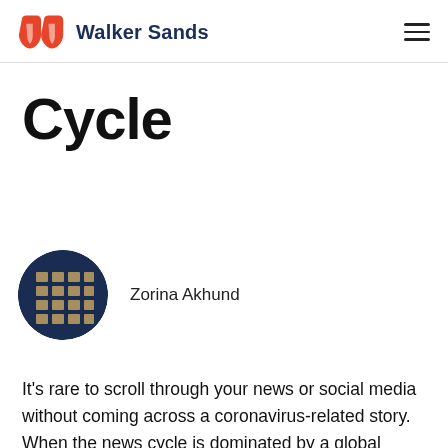Walker Sands
Cycle
Zorina Akhund
It's rare to scroll through your news or social media without coming across a coronavirus-related story. When the news cycle is dominated by a global